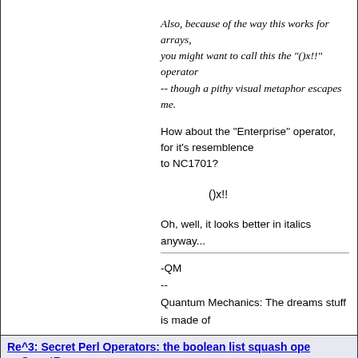Also, because of the way this works for arrays, you might want to call this the "()x!!" operator -- though a pithy visual metaphor escapes me.
How about the "Enterprise" operator, for it's resemblence to NC1701?
()x!!
Oh, well, it looks better in italics anyway...
-QM
--
Quantum Mechanics: The dreams stuff is made of
Re^3: Secret Perl Operators: the boolean list squash ope by CountZero on Aug 01, 2006 at 09:00 UTC
There it is: proof by its very nature that Perl is an Enterprise-level language!
CountZero
"If you have four groups working on a compiler, you'll get a 4-pass compiler." - Conway's Law